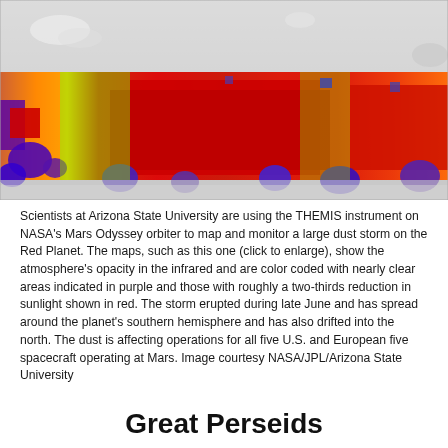[Figure (map): False-color infrared map of Mars showing dust storm opacity from the THEMIS instrument on NASA's Mars Odyssey orbiter. A horizontal band of color spans the image, with purple indicating nearly clear areas, yellow-green for moderate opacity, and large regions of red indicating roughly two-thirds reduction in sunlight. The upper portion shows a grayscale topographic relief map of Mars. The colorized band sits over the southern and northern hemisphere regions.]
Scientists at Arizona State University are using the THEMIS instrument on NASA's Mars Odyssey orbiter to map and monitor a large dust storm on the Red Planet. The maps, such as this one (click to enlarge), show the atmosphere's opacity in the infrared and are color coded with nearly clear areas indicated in purple and those with roughly a two-thirds reduction in sunlight shown in red. The storm erupted during late June and has spread around the planet's southern hemisphere and has also drifted into the north. The dust is affecting operations for all five U.S. and European five spacecraft operating at Mars. Image courtesy NASA/JPL/Arizona State University
Great Perseids